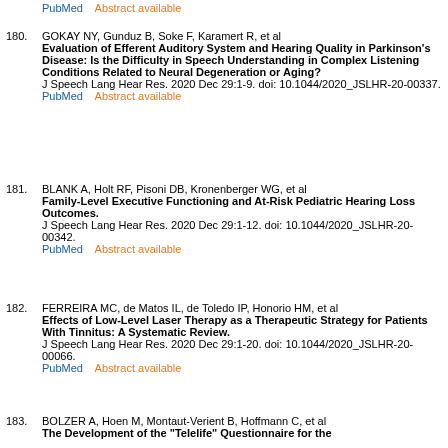PubMed    Abstract available
180. GOKAY NY, Gunduz B, Soke F, Karamert R, et al
Evaluation of Efferent Auditory System and Hearing Quality in Parkinson's Disease: Is the Difficulty in Speech Understanding in Complex Listening Conditions Related to Neural Degeneration or Aging?
J Speech Lang Hear Res. 2020 Dec 29:1-9. doi: 10.1044/2020_JSLHR-20-00337.
PubMed    Abstract available
181. BLANK A, Holt RF, Pisoni DB, Kronenberger WG, et al
Family-Level Executive Functioning and At-Risk Pediatric Hearing Loss Outcomes.
J Speech Lang Hear Res. 2020 Dec 29:1-12. doi: 10.1044/2020_JSLHR-20-00342.
PubMed    Abstract available
182. FERREIRA MC, de Matos IL, de Toledo IP, Honorio HM, et al
Effects of Low-Level Laser Therapy as a Therapeutic Strategy for Patients With Tinnitus: A Systematic Review.
J Speech Lang Hear Res. 2020 Dec 29:1-20. doi: 10.1044/2020_JSLHR-20-00066.
PubMed    Abstract available
183. BOLZER A, Hoen M, Montaut-Verient B, Hoffmann C, et al
The Development of the "Telelife" Questionnaire for the...